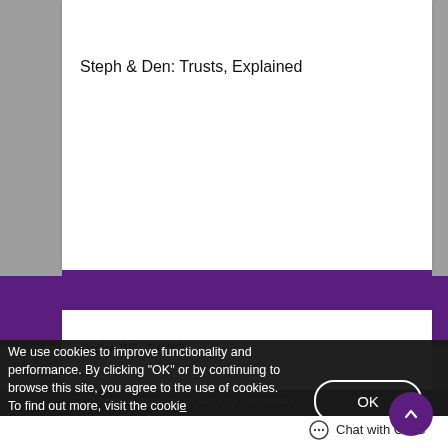Steph & Den: Trusts, Explained
July 25, 2022
CDIC seeks input on its funding framework
We use cookies to improve functionality and performance. By clicking "OK" or by continuing to browse this site, you agree to the use of cookies. To find out more, visit the cookie privacy policy
OK
Chat with CDIC